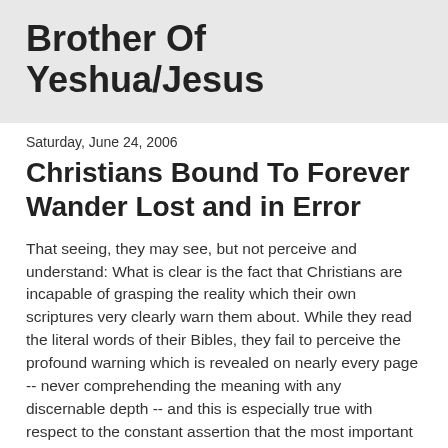Brother Of Yeshua/Jesus
Saturday, June 24, 2006
Christians Bound To Forever Wander Lost and in Error
That seeing, they may see, but not perceive and understand: What is clear is the fact that Christians are incapable of grasping the reality which their own scriptures very clearly warn them about. While they read the literal words of their Bibles, they fail to perceive the profound warning which is revealed on nearly every page -- never comprehending the meaning with any discernable depth -- and this is especially true with respect to the constant assertion that the most important teachings are not literally revealed to the reader. What is stated is that, while the multitudes were taught in the enigma of parables that portrayed the Mysteries of God that were beyond normal human comprehension, what is very